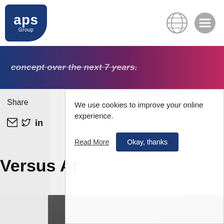[Figure (logo): APS Group logo — white text on dark blue rounded rectangle]
[Figure (other): Globe icon (website/language) and hamburger menu icon, grey]
concept over the next 7 years.
Share
[Figure (other): Social sharing icons: email envelope, Twitter bird, LinkedIn 'in']
Versus Ar
We use cookies to improve your online experience.
Read More
Okay, thanks
[Figure (photo): Partial photo of a person at bottom of page, partially obscured by cookie banner]